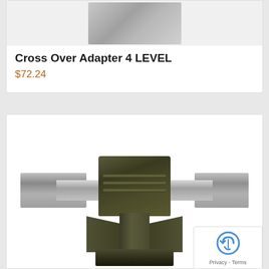[Figure (photo): Partial top view of a Cross Over Adapter 4 LEVEL product - gray metallic component on white background]
Cross Over Adapter 4 LEVEL
$72.24
[Figure (photo): Cross Over Adapter 4 LEVEL product photo showing a dark metal adapter/connector with horizontal rails extending left and right, and a vertical mounting post below, on white background]